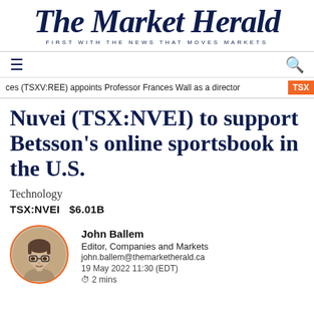The Market Herald — FIRST WITH THE NEWS THAT MOVES MARKETS
ces (TSXV:REE) appoints Professor Frances Wall as a director   TSX
Nuvei (TSX:NVEI) to support Betsson's online sportsbook in the U.S.
Technology
TSX:NVEI   $6.01B
John Ballem
Editor, Companies and Markets
john.ballem@themarketherald.ca
19 May 2022 11:30  (EDT)
2 mins